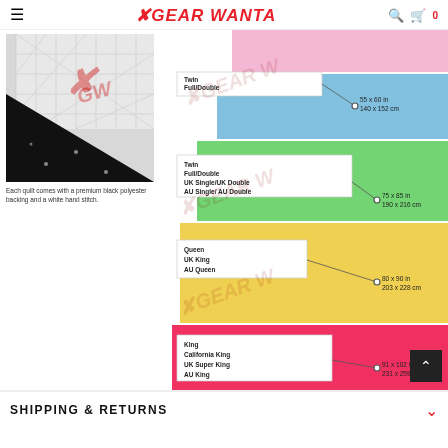GEAR WANTA
[Figure (photo): Quilt showing premium black polyester backing and white hand stitch pattern]
Each quilt comes with a premium black polyester backing and a white hand stitch.
[Figure (infographic): Quilt size chart showing 5 size tiers: Baby/Throw (55x60 in / 140x152 cm), Twin/Full/Double/UK Single/UK Double/AU Single/AU Double (75x85 in / 190x216 cm), Queen/UK King/AU Queen (80x90 in / 203x228 cm), King/California King/UK Super King/AU King (91x102 in / 231x259 cm)]
SHIPPING & RETURNS